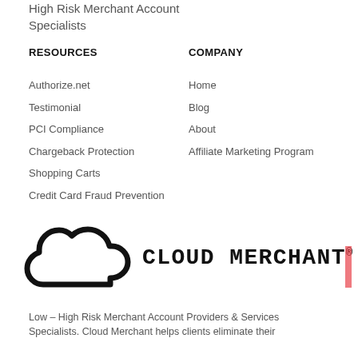High Risk Merchant Account Specialists
RESOURCES
COMPANY
Authorize.net
Testimonial
PCI Compliance
Chargeback Protection
Shopping Carts
Credit Card Fraud Prevention
Home
Blog
About
Affiliate Marketing Program
[Figure (logo): Cloud Merchant logo with cloud icon and bold text CLOUD MERCHANT with registered trademark symbol]
Low – High Risk Merchant Account Providers & Services Specialists. Cloud Merchant helps clients eliminate their